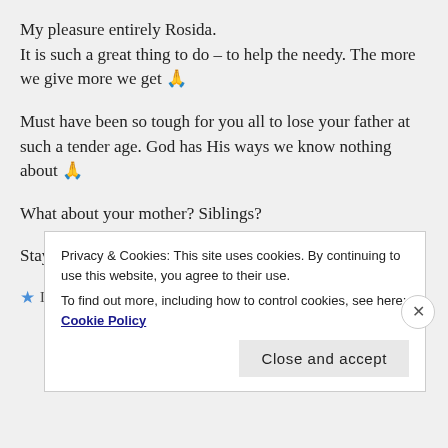My pleasure entirely Rosida.
It is such a great thing to do – to help the needy. The more we give more we get 🙏
Must have been so tough for you all to lose your father at such a tender age. God has His ways we know nothing about 🙏
What about your mother? Siblings?
Stay blessed 😊🤗
★ Liked by 1 person
Privacy & Cookies: This site uses cookies. By continuing to use this website, you agree to their use.
To find out more, including how to control cookies, see here: Cookie Policy
Close and accept